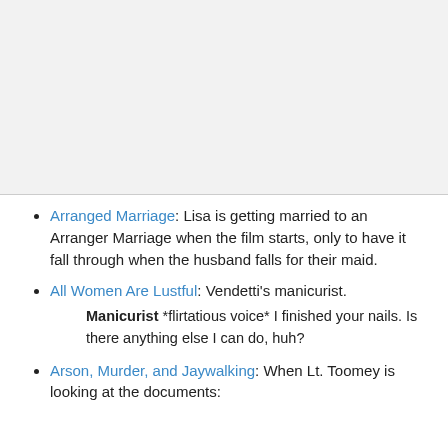[Figure (other): Gray placeholder area at top of page, separated by a horizontal line]
Arranged Marriage: Lisa is getting married to an Arranger Marriage when the film starts, only to have it fall through when the husband falls for their maid.
All Women Are Lustful: Vendetti's manicurist.
Manicurist *flirtatious voice* I finished your nails. Is there anything else I can do, huh?
Arson, Murder, and Jaywalking: When Lt. Toomey is looking at the documents: